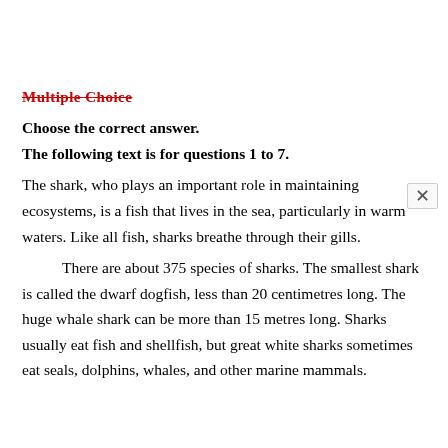Multiple Choice
Choose the correct answer.
The following text is for questions 1 to 7.
The shark, who plays an important role in maintaining ecosystems, is a fish that lives in the sea, particularly in warm waters. Like all fish, sharks breathe through their gills.
There are about 375 species of sharks. The smallest shark is called the dwarf dogfish, less than 20 centimetres long. The huge whale shark can be more than 15 metres long. Sharks usually eat fish and shellfish, but great white sharks sometimes eat seals, dolphins, whales, and other marine mammals.